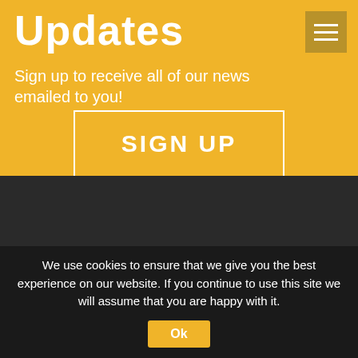Updates
Sign up to receive all of our news emailed to you!
[Figure (other): SIGN UP button with white border on yellow background]
ABOUT KILKENNY GYMNASTICS
Kilkenny Gymnastics Academy is a full time dedicated gymnastics training centre with a full range of Olympic standard equipment. We offer a broad range of classes from competitive to recreational, teenagers, parent and toddler to adult gymnastics in a safe and well equipped gymnastics environment, under the
We use cookies to ensure that we give you the best experience on our website. If you continue to use this site we will assume that you are happy with it. Ok